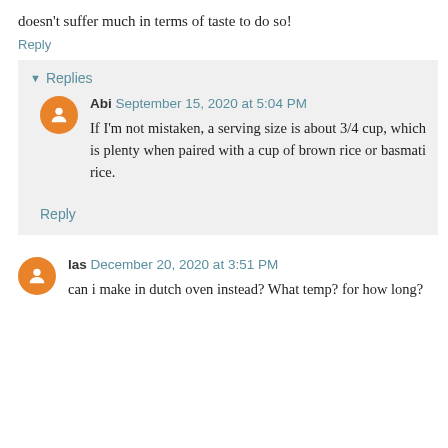doesn't suffer much in terms of taste to do so!
Reply
Replies
Abi September 15, 2020 at 5:04 PM
If I'm not mistaken, a serving size is about 3/4 cup, which is plenty when paired with a cup of brown rice or basmati rice.
Reply
las December 20, 2020 at 3:51 PM
can i make in dutch oven instead? What temp? for how long?